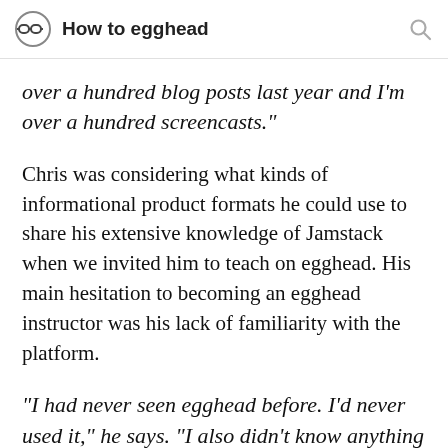How to egghead
over a hundred blog posts last year and I'm over a hundred screencasts."
Chris was considering what kinds of informational product formats he could use to share his extensive knowledge of Jamstack when we invited him to teach on egghead. His main hesitation to becoming an egghead instructor was his lack of familiarity with the platform.
"I had never seen egghead before. I'd never used it," he says. "I also didn't know anything about how they worked. I'm aware there are